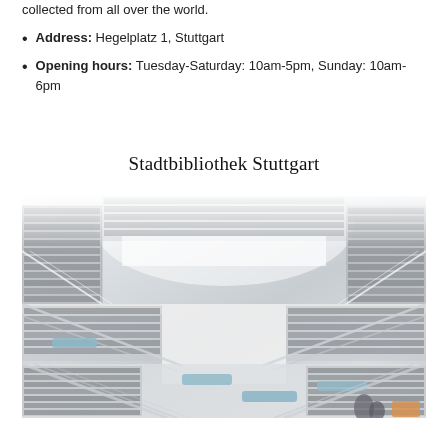collected from all over the world.
Address: Hegelplatz 1, Stuttgart
Opening hours: Tuesday-Saturday: 10am-5pm, Sunday: 10am-6pm
Stadtbibliothek Stuttgart
[Figure (photo): Interior of Stadtbibliothek Stuttgart showing multiple bright white gallery floors lined with bookshelves, staircases, and reading areas with blue seating.]